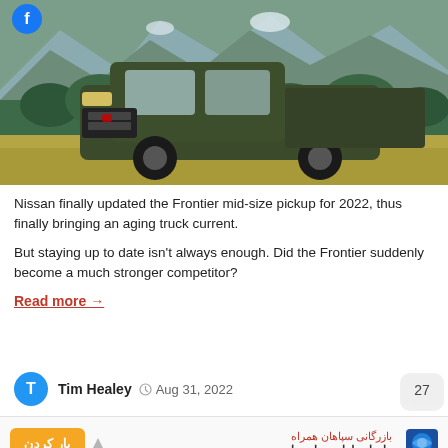[Figure (photo): Dark green Nissan Frontier pickup truck parked on a grassy field with mountains and trees in the background]
Nissan finally updated the Frontier mid-size pickup for 2022, thus finally bringing an aging truck current.
But staying up to date isn't always enough. Did the Frontier suddenly become a much stronger competitor?
Read more →
Tim Healey  Aug 31, 2022
[Figure (other): Advertisement banner with orange button and Persian text]